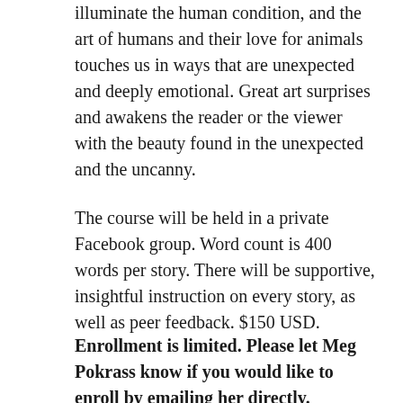illuminate the human condition, and the art of humans and their love for animals touches us in ways that are unexpected and deeply emotional. Great art surprises and awakens the reader or the viewer with the beauty found in the unexpected and the uncanny.
The course will be held in a private Facebook group. Word count is 400 words per story. There will be supportive, insightful instruction on every story, as well as peer feedback. $150 USD.
Enrollment is limited. Please let Meg Pokrass know if you would like to enroll by emailing her directly.
[Figure (photo): Light green/grey background with pencils or art tools visible at the bottom right corner of the image.]